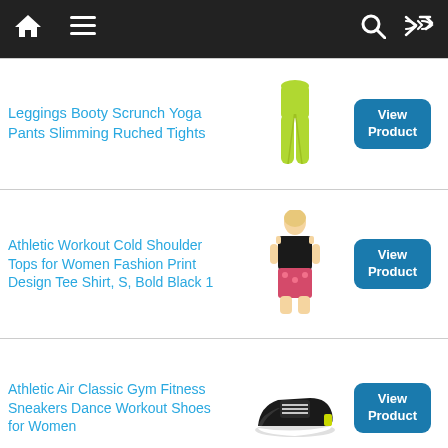Navigation bar with home, menu, search, and shuffle icons
Leggings Booty Scrunch Yoga Pants Slimming Ruched Tights
[Figure (photo): Yellow-green leggings product photo]
View Product
Athletic Workout Cold Shoulder Tops for Women Fashion Print Design Tee Shirt, S, Bold Black 1
[Figure (photo): Woman wearing black cold shoulder top with printed shorts]
View Product
Athletic Air Classic Gym Fitness Sneakers Dance Workout Shoes for Women
[Figure (photo): Black and white athletic sneaker]
View Product
Soft Graphic Print Dance Fitness Tanks Workout
[Figure (photo): Woman wearing yellow fitness tank top]
View